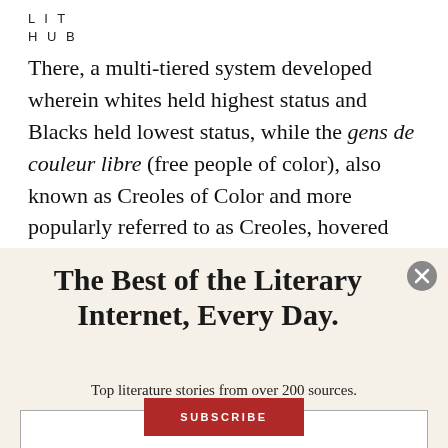LIT
HUB
There, a multi-tiered system developed wherein whites held highest status and Blacks held lowest status, while the gens de couleur libre (free people of color), also known as Creoles of Color and more popularly referred to as Creoles, hovered loosely between the two in an
The Best of the Literary Internet, Every Day.
Top literature stories from over 200 sources.
SUBSCRIBE